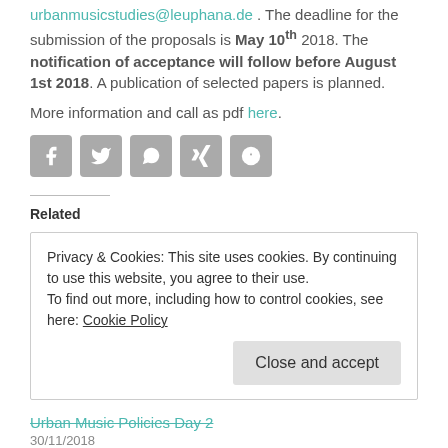urbanmusicstudies@leuphana.de . The deadline for the submission of the proposals is May 10th 2018. The notification of acceptance will follow before August 1st 2018. A publication of selected papers is planned.
More information and call as pdf here.
[Figure (infographic): Social share icons: Facebook, Twitter, WhatsApp, Xing, Info]
Related
Privacy & Cookies: This site uses cookies. By continuing to use this website, you agree to their use. To find out more, including how to control cookies, see here: Cookie Policy
Close and accept
Urban Music Policies Day 2
30/11/2018
In "News"